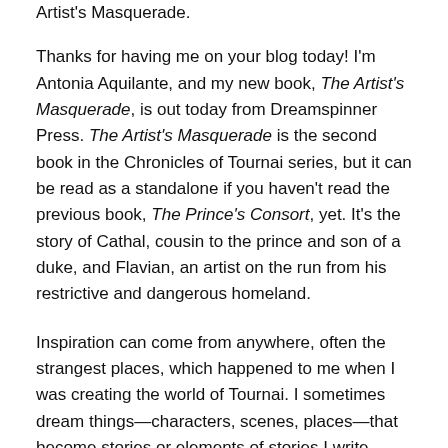Artist's Masquerade.
Thanks for having me on your blog today! I'm Antonia Aquilante, and my new book, The Artist's Masquerade, is out today from Dreamspinner Press. The Artist's Masquerade is the second book in the Chronicles of Tournai series, but it can be read as a standalone if you haven't read the previous book, The Prince's Consort, yet. It's the story of Cathal, cousin to the prince and son of a duke, and Flavian, an artist on the run from his restrictive and dangerous homeland.
Inspiration can come from anywhere, often the strangest places, which happened to me when I was creating the world of Tournai. I sometimes dream things—characters, scenes, places—that become stories or elements of stories I write. Years ago I had a very vivid dream. It included a rather emotional scene between two people